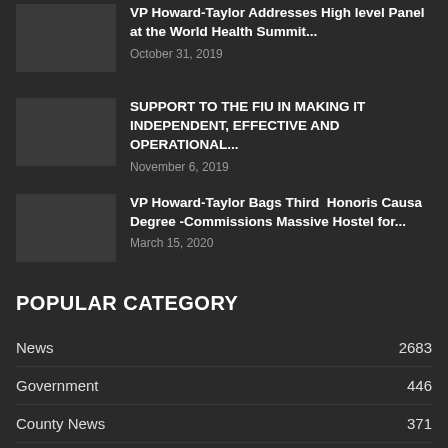VP Howard-Taylor Addresses High level Panel at the World Health Summit...
October 31, 2019
SUPPORT TO THE FIU IN MAKING IT INDEPENDENT, EFFECTIVE AND OPERATIONAL...
November 6, 2019
VP Howard-Taylor Bags Third  Honoris Causa Degree -Commissions Massive Hostel for...
March 15, 2020
POPULAR CATEGORY
| Category | Count |
| --- | --- |
| News | 2683 |
| Government | 446 |
| County News | 371 |
| Politics |  |